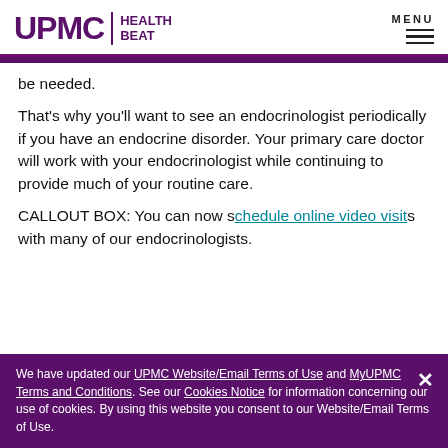UPMC HEALTH BEAT | MENU
be needed.
That's why you'll want to see an endocrinologist periodically if you have an endocrine disorder. Your primary care doctor will work with your endocrinologist while continuing to provide much of your routine care.
CALLOUT BOX: You can now schedule online video visits with many of our endocrinologists.
We have updated our UPMC Website/Email Terms of Use and MyUPMC Terms and Conditions. See our Cookies Notice for information concerning our use of cookies. By using this website you consent to our Website/Email Terms of Use.